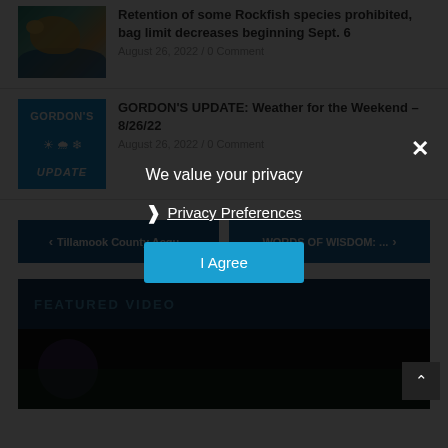Retention of some Rockfish species prohibited, bag limit decreases beginning Sept. 6
August 26, 2022  /  0 Comment
GORDON'S UPDATE: Weather for the Weekend – 8/26/22
August 26, 2022  /  0 Comment
< Tillamook County Acqu...
WORDS OF WISDOM: ...  >
FEATURED VIDEO
We value your privacy
Privacy Preferences
I Agree